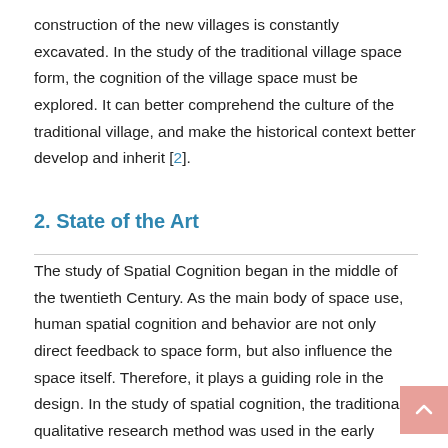construction of the new villages is constantly excavated. In the study of the traditional village space form, the cognition of the village space must be explored. It can better comprehend the culture of the traditional village, and make the historical context better develop and inherit [2].
2. State of the Art
The study of Spatial Cognition began in the middle of the twentieth Century. As the main body of space use, human spatial cognition and behavior are not only direct feedback to space form, but also influence the space itself. Therefore, it plays a guiding role in the design. In the study of spatial cognition, the traditional qualitative research method was used in the early stage. The traditional spatial cognition research is based on cognitive psychology. Cognitive map is the main research method. It directly studies the cognitive process of peoples cognition and information...